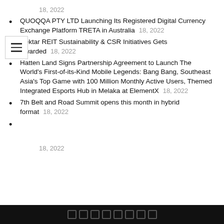18, 2022
QUOQQA PTY LTD Launching Its Registered Digital Currency Exchange Platform TRETA in Australia   18, 2022
Hektar REIT Sustainability & CSR Initiatives Gets Awarded   18, 2022
Hatten Land Signs Partnership Agreement to Launch The World's First-of-its-Kind Mobile Legends: Bang Bang, Southeast Asia's Top Game with 100 Million Monthly Active Users, Themed Integrated Esports Hub in Melaka at ElementX   18, 2022
7th Belt and Road Summit opens this month in hybrid format   18, 2022
18, 2022